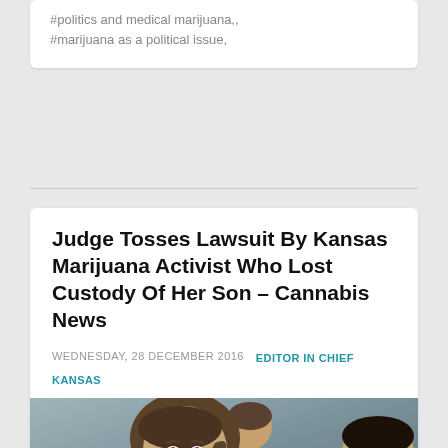#politics and medical marijuana,,
#marijuana as a political issue,
Judge Tosses Lawsuit By Kansas Marijuana Activist Who Lost Custody Of Her Son – Cannabis News
WEDNESDAY, 28 DECEMBER 2016   EDITOR IN CHIEF
KANSAS
[Figure (photo): Photo of a woman in the foreground with a serious expression, a man wearing glasses smiling on the right, and another person partially visible in the background.]